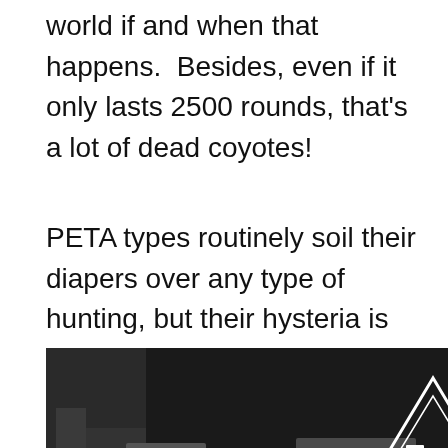world if and when that happens.  Besides, even if it only lasts 2500 rounds, that's a lot of dead coyotes!
PETA types routinely soil their diapers over any type of hunting, but their hysteria is completely illogical when you think about it. Coyotes typically end their lives in starvation, hypothermia, or the gnashing jaws of other predators. And rodent varmints face the additional horrors of Bubonic plague and
[Figure (photo): Advertisement for Rooftop Arms showing firearms/rifles against dark background with triangle logo. Text reads: ROOFTOP ARMS, Range Ready | Ultra Premium | Custom | Hand Assembled Guns, Click to enter our $1000 raffle now, USA MADE · VETERAN OWNED]
explosive bullet is ared to